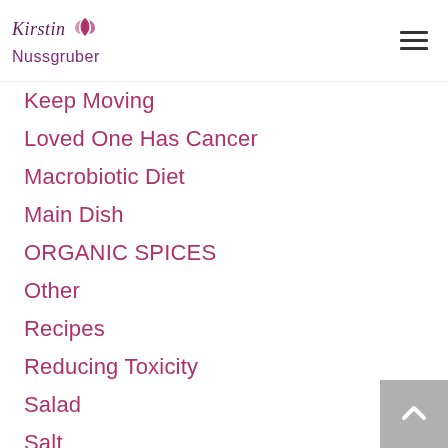Kirstin Nussgruber
Keep Moving
Loved One Has Cancer
Macrobiotic Diet
Main Dish
ORGANIC SPICES
Other
Recipes
Reducing Toxicity
Salad
Salt
Smart Food
Smart Shopping
Smart Shopping List
Smart Shopping Tips